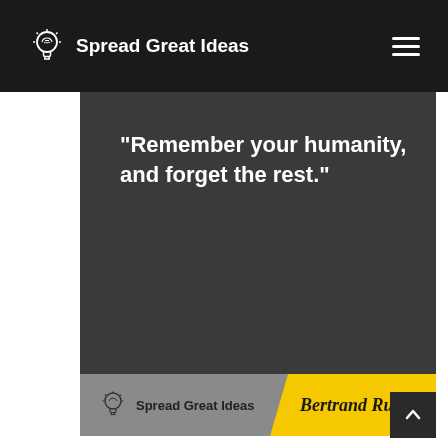Spread Great Ideas
“Remember your humanity, and forget the rest.”
Spread Great Ideas — Bertrand Russell